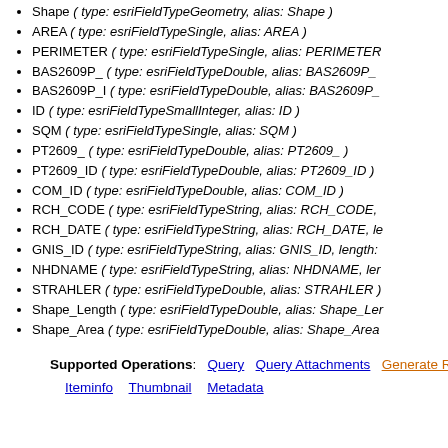Shape ( type: esriFieldTypeGeometry, alias: Shape )
AREA ( type: esriFieldTypeSingle, alias: AREA )
PERIMETER ( type: esriFieldTypeSingle, alias: PERIMETER...
BAS2609P_ ( type: esriFieldTypeDouble, alias: BAS2609P_...
BAS2609P_I ( type: esriFieldTypeDouble, alias: BAS2609P_...
ID ( type: esriFieldTypeSmallInteger, alias: ID )
SQM ( type: esriFieldTypeSingle, alias: SQM )
PT2609_ ( type: esriFieldTypeDouble, alias: PT2609_ )
PT2609_ID ( type: esriFieldTypeDouble, alias: PT2609_ID )
COM_ID ( type: esriFieldTypeDouble, alias: COM_ID )
RCH_CODE ( type: esriFieldTypeString, alias: RCH_CODE,...
RCH_DATE ( type: esriFieldTypeString, alias: RCH_DATE, le...
GNIS_ID ( type: esriFieldTypeString, alias: GNIS_ID, length:...
NHDNAME ( type: esriFieldTypeString, alias: NHDNAME, le...
STRAHLER ( type: esriFieldTypeDouble, alias: STRAHLER )
Shape_Length ( type: esriFieldTypeDouble, alias: Shape_Le...
Shape_Area ( type: esriFieldTypeDouble, alias: Shape_Area...
Supported Operations: Query  Query Attachments  Generate R...
Iteminfo  Thumbnail  Metadata